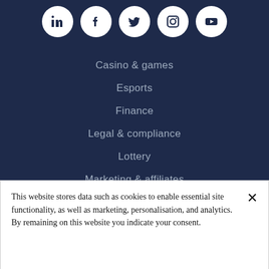[Figure (other): Social media icons in white circles: LinkedIn, Facebook, Twitter, Instagram, YouTube]
Casino & games
Esports
Finance
Legal & compliance
Lottery
Marketing & affiliates
People
This website stores data such as cookies to enable essential site functionality, as well as marketing, personalisation, and analytics. By remaining on this website you indicate your consent.